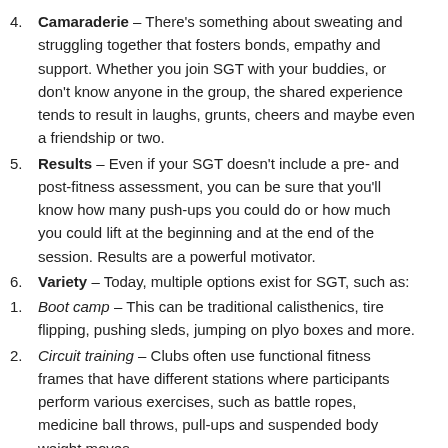4. Camaraderie – There's something about sweating and struggling together that fosters bonds, empathy and support. Whether you join SGT with your buddies, or don't know anyone in the group, the shared experience tends to result in laughs, grunts, cheers and maybe even a friendship or two.
5. Results – Even if your SGT doesn't include a pre- and post-fitness assessment, you can be sure that you'll know how many push-ups you could do or how much you could lift at the beginning and at the end of the session. Results are a powerful motivator.
6. Variety – Today, multiple options exist for SGT, such as:
1. Boot camp – This can be traditional calisthenics, tire flipping, pushing sleds, jumping on plyo boxes and more.
2. Circuit training – Clubs often use functional fitness frames that have different stations where participants perform various exercises, such as battle ropes, medicine ball throws, pull-ups and suspended body weight moves.